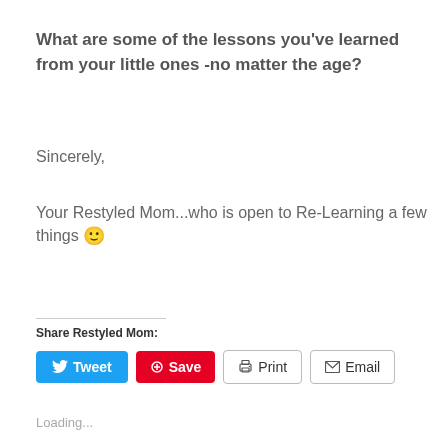What are some of the lessons you've learned from your little ones -no matter the age?
Sincerely,
Your Restyled Mom...who is open to Re-Learning a few things 🙂
Share Restyled Mom:
Loading...